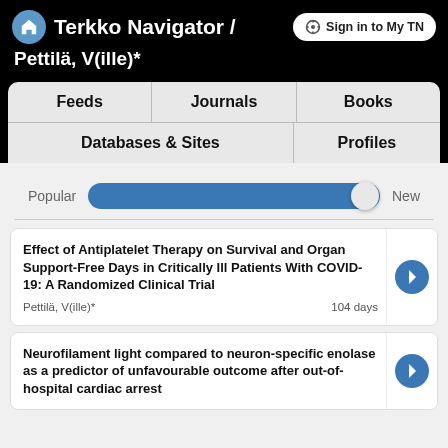Terkko Navigator / Pettilä, V(ille)*
Sign in to My TN
Feeds | Journals | Books | Databases & Sites | Profiles
Popular    New
Effect of Antiplatelet Therapy on Survival and Organ Support-Free Days in Critically Ill Patients With COVID-19: A Randomized Clinical Trial
Pettilä, V(ille)*    104 days
Neurofilament light compared to neuron-specific enolase as a predictor of unfavourable outcome after out-of-hospital cardiac arrest